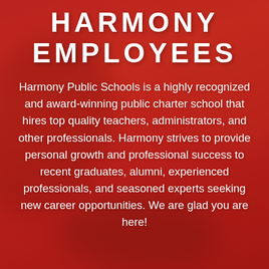HARMONY EMPLOYEES
Harmony Public Schools is a highly recognized and award-winning public charter school that hires top quality teachers, administrators, and other professionals. Harmony strives to provide personal growth and professional success to recent graduates, alumni, experienced professionals, and seasoned experts seeking new career opportunities. We are glad you are here!